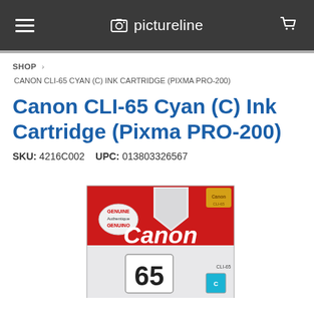pictureline
SHOP > CANON CLI-65 CYAN (C) INK CARTRIDGE (PIXMA PRO-200)
Canon CLI-65 Cyan (C) Ink Cartridge (Pixma PRO-200)
SKU: 4216C002    UPC: 013803326567
[Figure (photo): Canon CLI-65 Cyan ink cartridge box (Pixma PRO-200). Red and white packaging with Canon logo, showing the number 65 on the front. Includes Genuine/Authentique/Genuino badge.]